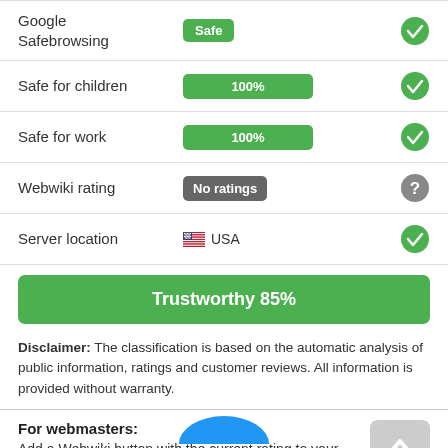|  | Status | Check |
| --- | --- | --- |
| Google Safebrowsing | Safe | ✓ |
| Safe for children | 100% | ✓ |
| Safe for work | 100% | ✓ |
| Webwiki rating | No ratings | ? |
| Server location | 🇺🇸 USA | ✓ |
Trustworthy 85%
Disclaimer: The classification is based on the automatic analysis of public information, ratings and customer reviews. All information is provided without warranty.
For webmasters: Add a Webwiki button with the current rating to your website!